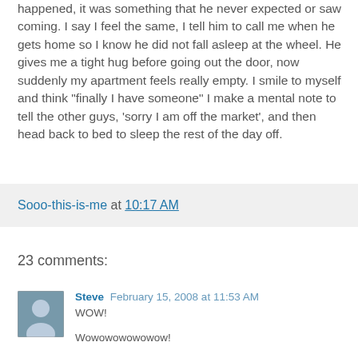happened, it was something that he never expected or saw coming. I say I feel the same, I tell him to call me when he gets home so I know he did not fall asleep at the wheel. He gives me a tight hug before going out the door, now suddenly my apartment feels really empty. I smile to myself and think "finally I have someone" I make a mental note to tell the other guys, 'sorry I am off the market', and then head back to bed to sleep the rest of the day off.
Sooo-this-is-me at 10:17 AM
23 comments:
Steve February 15, 2008 at 11:53 AM
WOW!

Wowowowowowow!

I am so happy for you Steven! I did not think it would turn out this way.